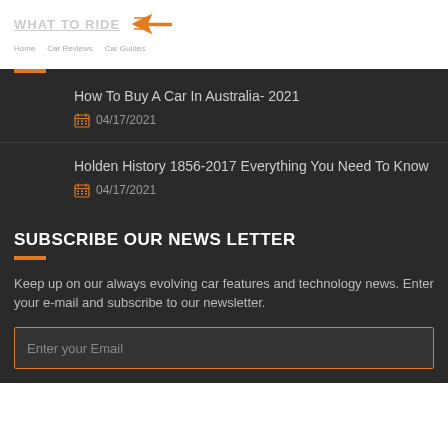WHAT TO RIDE
How To Buy A Car In Australia- 2021 | 04/17/2021
Holden History 1856-2017 Everything You Need To Know | 04/17/2021
SUBSCRIBE OUR NEWS LETTER
Keep up on our always evolving car features and technology news. Enter your e-mail and subscribe to our newsletter.
Enter your Email